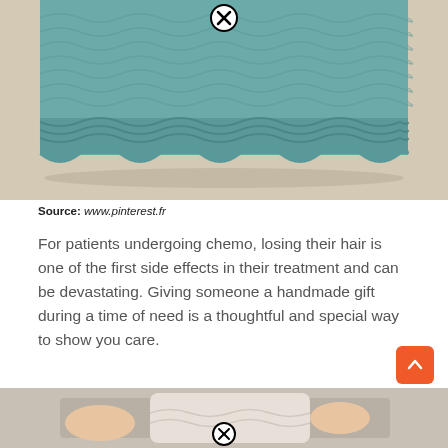[Figure (photo): Close-up of a teal/blue knitted fabric with a decorative scalloped border edge, photographed on a light beige surface. A close button (X in circle) is visible at the top center.]
Source: www.pinterest.fr
For patients undergoing chemo, losing their hair is one of the first side effects in their treatment and can be devastating. Giving someone a handmade gift during a time of need is a thoughtful and special way to show you care.
[Figure (photo): Partial view of hands holding a light-colored knitted item. A close button (X in circle) is visible at the bottom center. An orange scroll-to-top button is visible at the top right.]